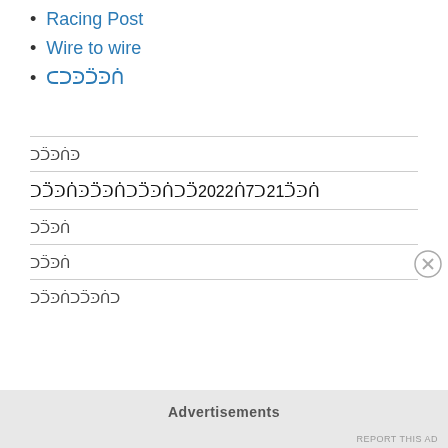Racing Post
Wire to wire
ᑕᑐᑔᑒᑔᑏ
ᑐᑒᑔᑏᑔ
ᑐᑒᑔᑏᑔᑒᑔᑏᑐᑒᑔᑏᑐᑒ2022ᑏ7ᑐ21ᑒᑔᑏ
ᑐᑒᑔᑏ
ᑐᑒᑔᑏ
ᑐᑒᑔᑏᑐᑒᑔᑏᑐ
Advertisements